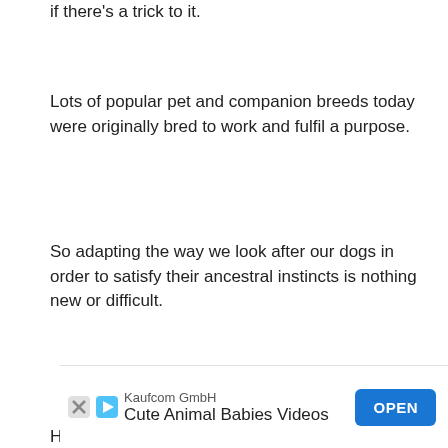if there's a trick to it.
Lots of popular pet and companion breeds today were originally bred to work and fulfil a purpose.
So adapting the way we look after our dogs in order to satisfy their ancestral instincts is nothing new or difficult.
High prey drive is known to be hereditary among German Shepherds, and it probably is in many other high prey drive dogs too.
So if you're looking at a breed with a history of hu... wa... et
[Figure (other): Advertisement banner: Kaufcom GmbH - Cute Animal Babies Videos - OPEN button]